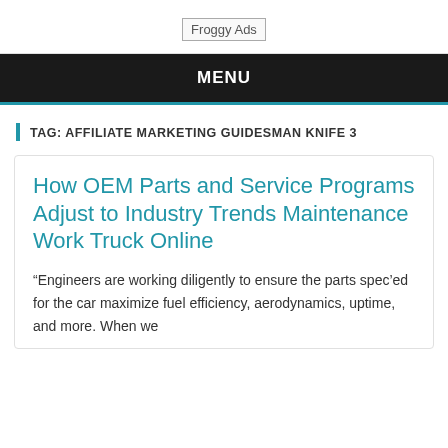Froggy Ads
MENU
TAG: AFFILIATE MARKETING GUIDESMAN KNIFE 3
How OEM Parts and Service Programs Adjust to Industry Trends Maintenance Work Truck Online
“Engineers are working diligently to ensure the parts spec’ed for the car maximize fuel efficiency, aerodynamics, uptime, and more. When we